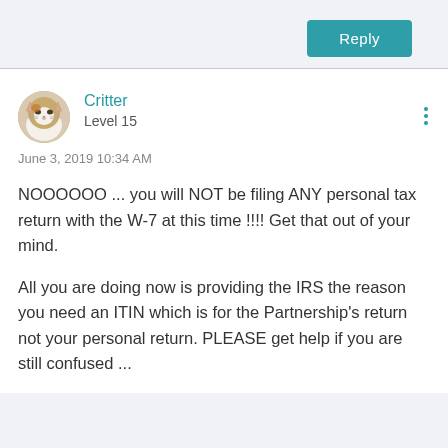[Figure (screenshot): Reply button in teal/green color in top right corner]
[Figure (illustration): Circular avatar of a cat (white and brown/orange tabby)]
Critter
Level 15
June 3, 2019 10:34 AM
NOOOOOO ... you will NOT be filing ANY personal tax return with the W-7 at this time !!!!  Get that out of your mind.
All you are doing now is providing the IRS the reason you need an ITIN  which is for the Partnership's return not your personal return.   PLEASE get help if you are still confused ...